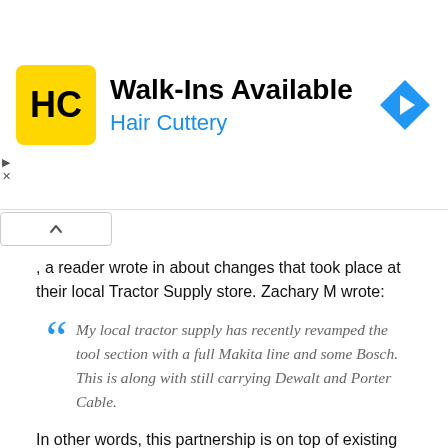[Figure (other): Hair Cuttery advertisement banner with yellow logo, 'Walk-Ins Available' headline, and blue directional arrow icon]
, a reader wrote in about changes that took place at their local Tractor Supply store. Zachary M wrote:
My local tractor supply has recently revamped the tool section with a full Makita line and some Bosch. This is along with still carrying Dewalt and Porter Cable.
In other words, this partnership is on top of existing efforts by Tractor Supply to expand and update their stores' tool aisles.
What Will This Mean for